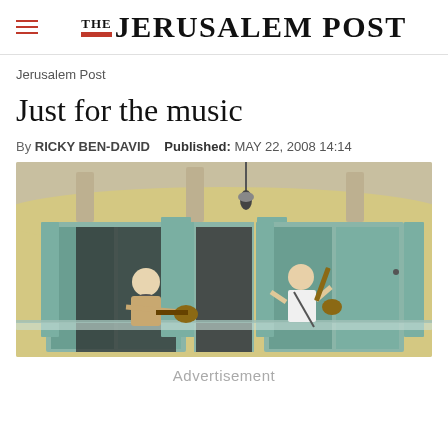THE JERUSALEM POST
Jerusalem Post
Just for the music
By RICKY BEN-DAVID   Published: MAY 22, 2008 14:14
[Figure (photo): Two musicians playing guitars on a balcony of a building with teal/blue shutters and yellow walls, photographed from below.]
Advertisement